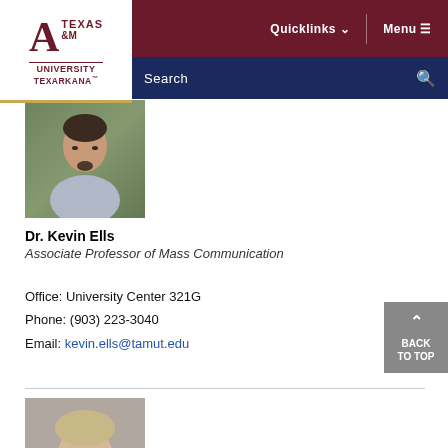[Figure (logo): Texas A&M University Texarkana logo with maroon A&M letters]
Quicklinks  Menu
Search
[Figure (photo): Headshot photo of Dr. Kevin Ells, a middle-aged man with dark hair and goatee]
Dr. Kevin Ells
Associate Professor of Mass Communication
Office: University Center 321G
Phone: (903) 223-3040
Email: kevin.ells@tamut.edu
[Figure (photo): Partial headshot photo of another person (female, blonde hair), cropped at bottom]